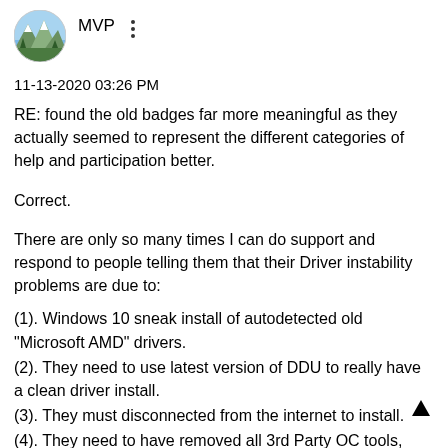[Figure (illustration): Circular avatar image showing a mountain landscape with snow-capped peak and trees, cropped in a circle]
MVP
11-13-2020 03:26 PM
RE: found the old badges far more meaningful as they actually seemed to represent the different categories of help and participation better.
Correct.
There are only so many times I can do support and respond to people telling them that their Driver instability problems are due to:
(1). Windows 10 sneak install of autodetected old "Microsoft AMD" drivers.
(2). They need to use latest version of DDU to really have a clean driver install.
(3). They must disconnected from the internet to install.
(4). They need to have removed all 3rd Party OC tools, especially MSI Afterburner ...
(5). They need to ...  Windows 10 check...